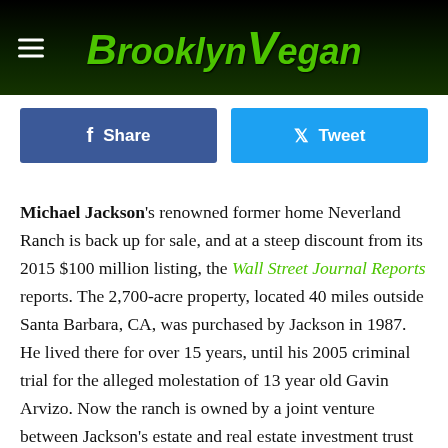BrooklynVegan
Share   Tweet
Michael Jackson's renowned former home Neverland Ranch is back up for sale, and at a steep discount from its 2015 $100 million listing, the Wall Street Journal Reports reports. The 2,700-acre property, located 40 miles outside Santa Barbara, CA, was purchased by Jackson in 1987. He lived there for over 15 years, until his 2005 criminal trial for the alleged molestation of 13 year old Gavin Arvizo. Now the ranch is owned by a joint venture between Jackson's estate and real estate investment trust Colony Capital, who stepped